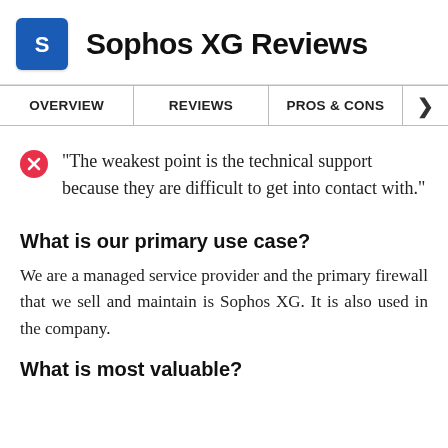Sophos XG Reviews
OVERVIEW | REVIEWS | PROS & CONS
"The weakest point is the technical support because they are difficult to get into contact with."
What is our primary use case?
We are a managed service provider and the primary firewall that we sell and maintain is Sophos XG. It is also used in the company.
What is most valuable?